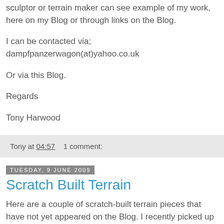sculptor or terrain maker can see example of my work, here on my Blog or through links on the Blog.
I can be contacted via;
dampfpanzerwagon(at)yahoo.co.uk
Or via this Blog.
Regards
Tony Harwood
Tony at 04:57    1 comment:
Tuesday, 9 June 2009
Scratch Built Terrain
Here are a couple of scratch-built terrain pieces that have not yet appeared on the Blog. I recently picked up the fountain model from a friend who had borrowed it and the